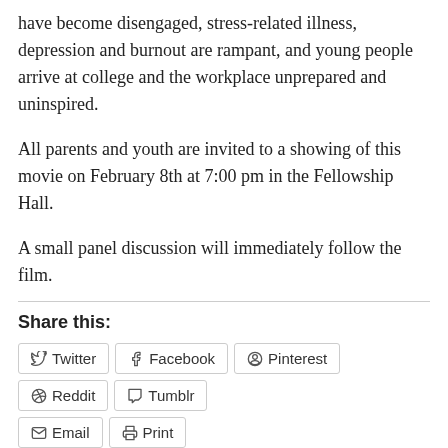have become disengaged, stress-related illness, depression and burnout are rampant, and young people arrive at college and the workplace unprepared and uninspired.
All parents and youth are invited to a showing of this movie on February 8th at 7:00 pm in the Fellowship Hall.
A small panel discussion will immediately follow the film.
Share this:
Twitter  Facebook  Pinterest  Reddit  Tumblr  Email  Print
Loading...